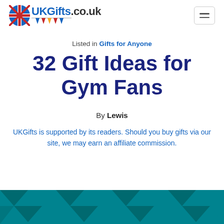UKGifts.co.uk
Listed in Gifts for Anyone
32 Gift Ideas for Gym Fans
By Lewis
UKGifts is supported by its readers. Should you buy gifts via our site, we may earn an affiliate commission.
[Figure (other): Teal geometric pattern banner at the bottom of the page]